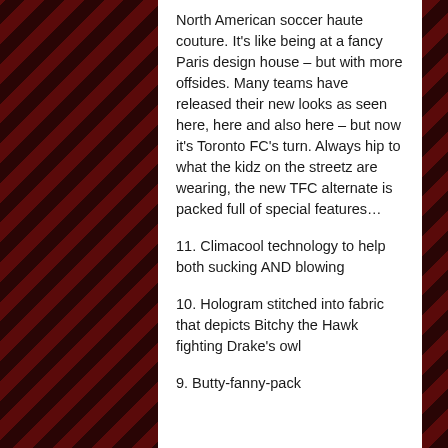North American soccer haute couture. It's like being at a fancy Paris design house – but with more offsides. Many teams have released their new looks as seen here, here and also here – but now it's Toronto FC's turn. Always hip to what the kidz on the streetz are wearing, the new TFC alternate is packed full of special features…
11. Climacool technology to help both sucking AND blowing
10. Hologram stitched into fabric that depicts Bitchy the Hawk fighting Drake's owl
9. Butty-fanny-pack